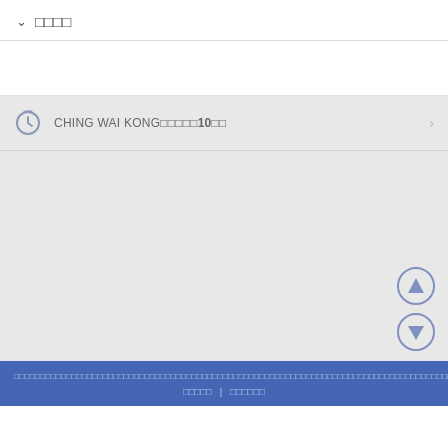∨ □□□□
CHING WAI KONG□□□□□10□□
[Figure (screenshot): Up and down navigation circle buttons on gray background]
□□□□□□□□□□□□□□□□□□□□□□□□□□□□□□□□□□□□□□□□□□□□□□□□□□□□□□□□□□□□□□□□□□□□□□□□□□□□□□□□□□□□□□□□□□ | □□□□□□